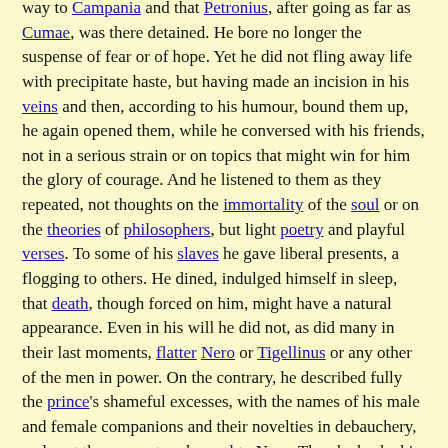way to Campania and that Petronius, after going as far as Cumae, was there detained. He bore no longer the suspense of fear or of hope. Yet he did not fling away life with precipitate haste, but having made an incision in his veins and then, according to his humour, bound them up, he again opened them, while he conversed with his friends, not in a serious strain or on topics that might win for him the glory of courage. And he listened to them as they repeated, not thoughts on the immortality of the soul or on the theories of philosophers, but light poetry and playful verses. To some of his slaves he gave liberal presents, a flogging to others. He dined, indulged himself in sleep, that death, though forced on him, might have a natural appearance. Even in his will he did not, as did many in their last moments, flatter Nero or Tigellinus or any other of the men in power. On the contrary, he described fully the prince's shameful excesses, with the names of his male and female companions and their novelties in debauchery, and sent the account under seal to Nero. Then he broke his signet-ring, that it might not be subsequently available for imperilling others.
Event: Death of Petronius